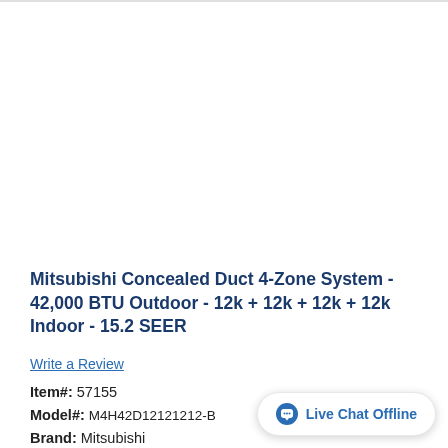Mitsubishi Concealed Duct 4-Zone System - 42,000 BTU Outdoor - 12k + 12k + 12k + 12k Indoor - 15.2 SEER
Write a Review
Item#: 57155
Model#: M4H42D12121212-B
Brand: Mitsubishi